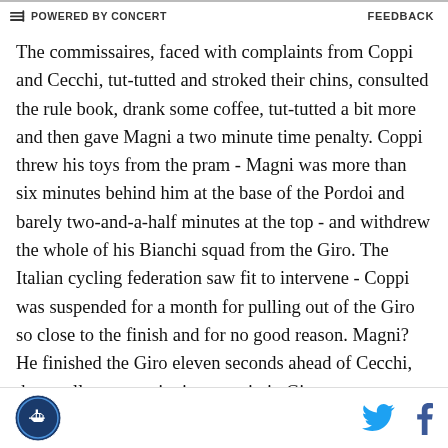POWERED BY CONCERT  FEEDBACK
The commissaires, faced with complaints from Coppi and Cecchi, tut-tutted and stroked their chins, consulted the rule book, drank some coffee, tut-tutted a bit more and then gave Magni a two minute time penalty. Coppi threw his toys from the pram - Magni was more than six minutes behind him at the base of the Pordoi and barely two-and-a-half minutes at the top - and withdrew the whole of his Bianchi squad from the Giro. The Italian cycling federation saw fit to intervene - Coppi was suspended for a month for pulling out of the Giro so close to the finish and for no good reason. Magni? He finished the Giro eleven seconds ahead of Cecchi, the smallest ever winning margin in Giro